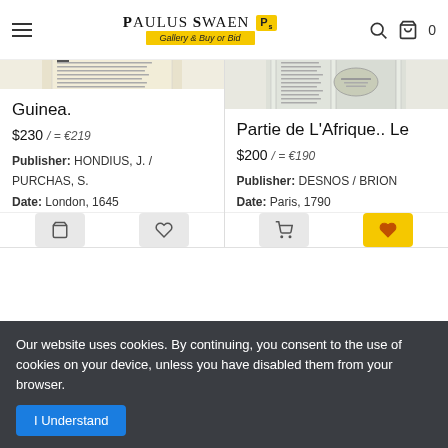Paulus Swaen Gallery & Buy or Bid
[Figure (photo): Scanned page of old text document - Guinea listing image]
Guinea.
$230 / = €219
Publisher: HONDIUS, J. / PURCHAS, S.
Date: London, 1645
[Figure (photo): Old map of part of Africa - Partie de L'Afrique listing image]
Partie de L'Afrique.. Le
$200 / = €190
Publisher: DESNOS / BRION
Date: Paris, 1790
Our website uses cookies. By continuing, you consent to the use of cookies on your device, unless you have disabled them from your browser.
I Understand